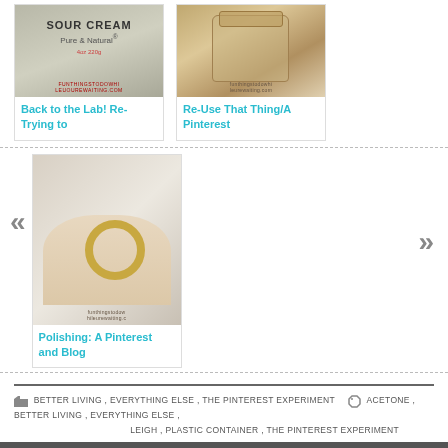[Figure (photo): Sour cream container product photo with text overlay]
Back to the Lab! Re-Trying to
[Figure (photo): Jar with wooden lid photo]
Re-Use That Thing/A Pinterest
[Figure (photo): Hand holding a gold ring charm with website watermark]
Polishing: A Pinterest and Blog
BETTER LIVING , EVERYTHING ELSE , THE PINTEREST EXPERIMENT      ACETONE , BETTER LIVING , EVERYTHING ELSE , LEIGH , PLASTIC CONTAINER , THE PINTEREST EXPERIMENT